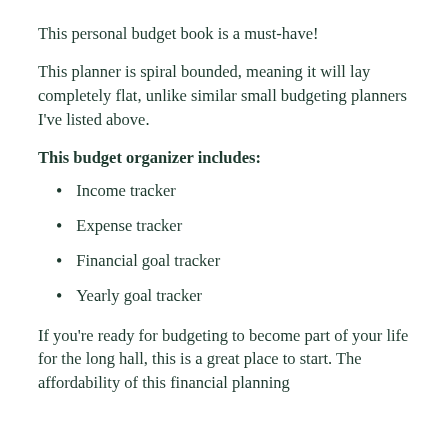This personal budget book is a must-have!
This planner is spiral bounded, meaning it will lay completely flat, unlike similar small budgeting planners I've listed above.
This budget organizer includes:
Income tracker
Expense tracker
Financial goal tracker
Yearly goal tracker
If you're ready for budgeting to become part of your life for the long hall, this is a great place to start. The affordability of this financial planning